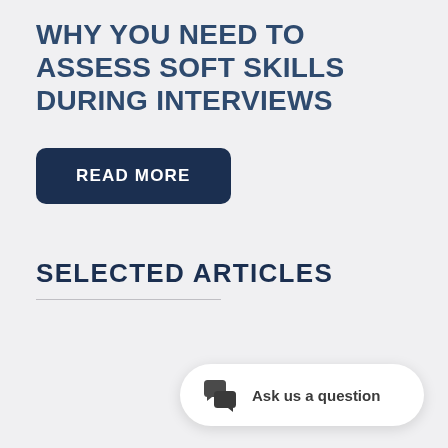WHY YOU NEED TO ASSESS SOFT SKILLS DURING INTERVIEWS
READ MORE
SELECTED ARTICLES
Ask us a question